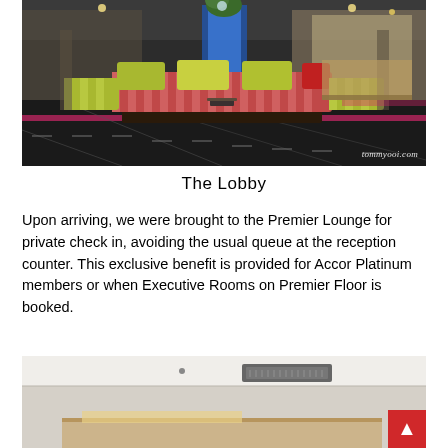[Figure (photo): Hotel lobby interior with colorful striped pink and green sofas on a dark patterned carpet, blue illuminated pillar in background, reception area visible on right. Watermark: tommyooi.com]
The Lobby
Upon arriving, we were brought to the Premier Lounge for private check in, avoiding the usual queue at the reception counter. This exclusive benefit is provided for Accor Platinum members or when Executive Rooms on Premier Floor is booked.
[Figure (photo): Interior room or lounge area with white walls and ceiling, air conditioning unit visible, and what appears to be a reception or lounge counter area at the bottom.]